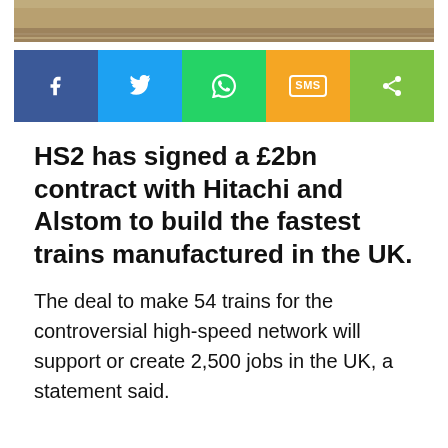[Figure (photo): Partial photo of a train platform or track, cropped at top]
[Figure (infographic): Social sharing bar with buttons: Facebook (blue), Twitter (light blue), WhatsApp (green), SMS (yellow/orange), Share (yellow-green)]
HS2 has signed a £2bn contract with Hitachi and Alstom to build the fastest trains manufactured in the UK.
The deal to make 54 trains for the controversial high-speed network will support or create 2,500 jobs in the UK, a statement said.